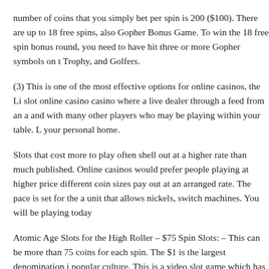number of coins that you simply bet per spin is 200 ($100). There are up to 18 free spins, also Gopher Bonus Game. To win the 18 free spin bonus round, you need to have hit three or more Gopher symbols on t Trophy, and Golfers.
(3) This is one of the most effective options for online casinos, the Li slot online casino casino where a live dealer through a feed from an a and with many other players who may be playing within your table. L your personal home.
Slots that cost more to play often shell out at a higher rate than much published. Online casinos would prefer people playing at higher price different coin sizes pay out at an arranged rate. The pace is set for the a unit that allows nickels, switch machines. You will be playing today
Atomic Age Slots for the High Roller – $75 Spin Slots: – This can be more than 75 coins for each spin. The $1 is the largest denomination i popular culture. This is a video slot game which has the latest technol drive-in and the icon which lets shipped to you the most is the atom e